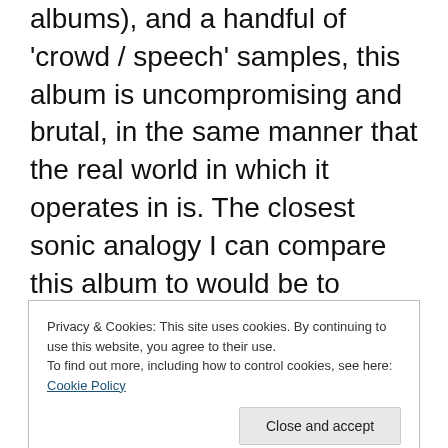albums), and a handful of 'crowd / speech' samples, this album is uncompromising and brutal, in the same manner that the real world in which it operates in is. The closest sonic analogy I can compare this album to would be to various Brighter Death Now albums, though there are several important distinctions which must be made. While both share a penchant for lo-fi, grinding industrial soundscapes with an emphasis on intensity and varying degrees of repetition (or monotony, depending on how critical you are as a listener), Brighter Death Now often
Privacy & Cookies: This site uses cookies. By continuing to use this website, you agree to their use. To find out more, including how to control cookies, see here: Cookie Policy
mind: revolution. With recent world events rapidly flushing